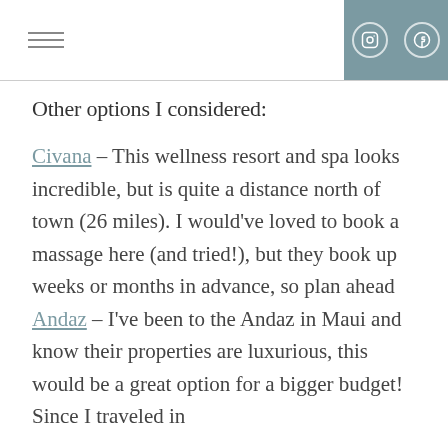☰  [instagram] [pinterest]
Other options I considered:
Civana – This wellness resort and spa looks incredible, but is quite a distance north of town (26 miles). I would've loved to book a massage here (and tried!), but they book up weeks or months in advance, so plan ahead
Andaz – I've been to the Andaz in Maui and know their properties are luxurious, this would be a great option for a bigger budget! Since I traveled in